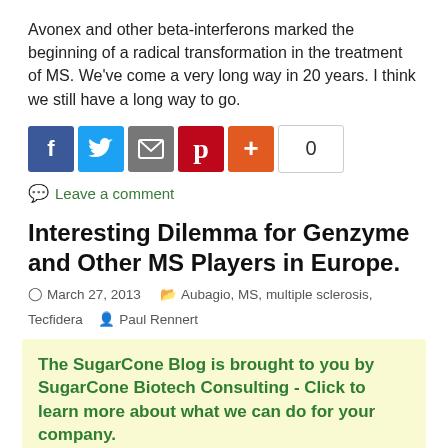Avonex and other beta-interferons marked the beginning of a radical transformation in the treatment of MS. We've come a very long way in 20 years. I think we still have a long way to go.
[Figure (other): Social sharing buttons: Facebook (blue), Twitter (blue), Email (grey), Pinterest (red), Plus/share (orange), and a count badge showing 0]
Leave a comment
Interesting Dilemma for Genzyme and Other MS Players in Europe.
March 27, 2013   Aubagio, MS, multiple sclerosis, Tecfidera   Paul Rennert
The SugarCone Blog is brought to you by SugarCone Biotech Consulting - Click to learn more about what we can do for your company.